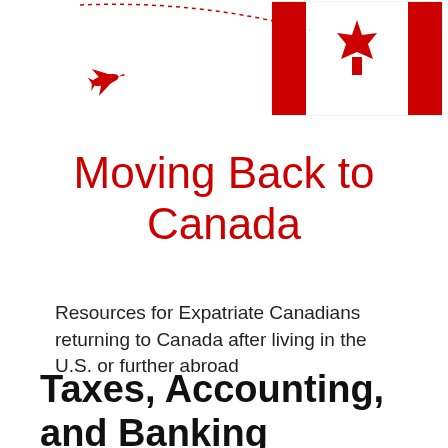[Figure (illustration): Canadian flag in top right corner with a dotted arc flight path and a red airplane silhouette in top left area, on white background]
Moving Back to Canada
Resources for Expatriate Canadians returning to Canada after living in the U.S. or further abroad
Taxes, Accounting, and Banking